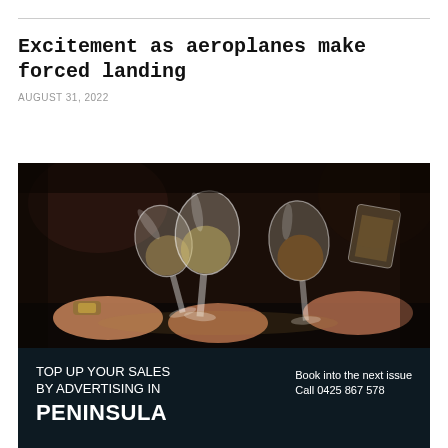Excitement as aeroplanes make forced landing
AUGUST 31, 2022
[Figure (photo): People clinking wine glasses together at a bar or social gathering, dark atmospheric background]
TOP UP YOUR SALES BY ADVERTISING IN PENINSULA   Book into the next issue Call 0425 867 578